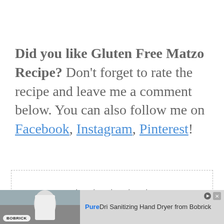Did you like Gluten Free Matzo Recipe? Don't forget to rate the recipe and leave me a comment below. You can also follow me on Facebook, Instagram, Pinterest!
[Figure (other): Rating box with 5 filled stars and text '4.39 from 21 votes']
[Figure (other): Advertisement banner for Bobrick PureDri Sanitizing Hand Dryer showing a person wearing a mask and the product name]